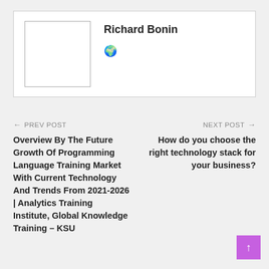[Figure (other): Author card with placeholder photo box, author name Richard Bonin, and a globe icon]
Richard Bonin
← PREV POST
NEXT POST →
Overview By The Future Growth Of Programming Language Training Market With Current Technology And Trends From 2021-2026 | Analytics Training Institute, Global Knowledge Training – KSU
How do you choose the right technology stack for your business?